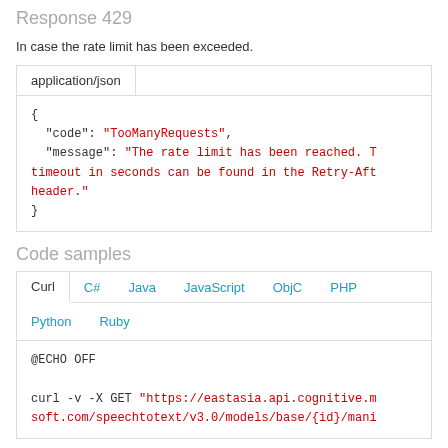Response 429
In case the rate limit has been exceeded.
application/json
{
  "code": "TooManyRequests",
  "message": "The rate limit has been reached. The timeout in seconds can be found in the Retry-After header."
}
Code samples
Curl  C#  Java  JavaScript  ObjC  PHP  Python  Ruby
@ECHO OFF

curl -v -X GET "https://eastasia.api.cognitive.microsoft.com/speechtotext/v3.0/models/base/{id}/mani